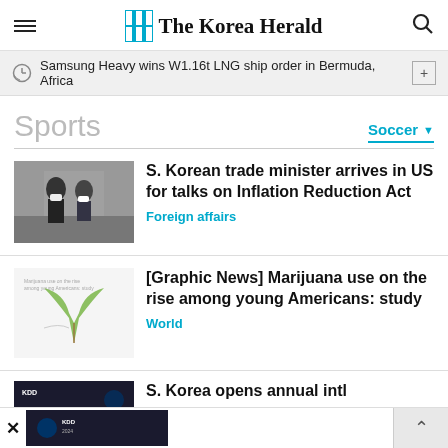The Korea Herald
Samsung Heavy wins W1.16t LNG ship order in Bermuda, Africa
Sports
Soccer
S. Korean trade minister arrives in US for talks on Inflation Reduction Act
Foreign affairs
[Graphic News] Marijuana use on the rise among young Americans: study
World
S. Korea opens annual intl